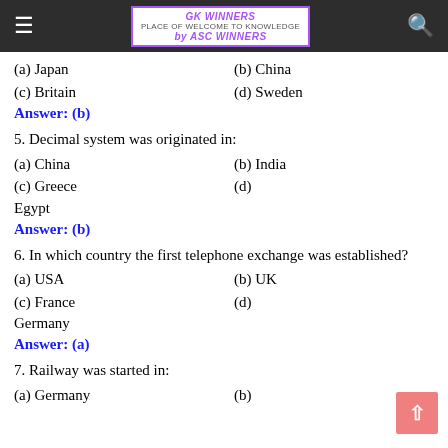GK WINNERS by ASC WINNERS
(a) Japan   (b) China
(c) Britain   (d) Sweden
Answer: (b)
5. Decimal system was originated in:
(a) China   (b) India
(c) Greece   (d) Egypt
Answer: (b)
6. In which country the first telephone exchange was established?
(a) USA   (b) UK
(c) France   (d) Germany
Answer: (a)
7. Railway was started in:
(a) Germany   (b)